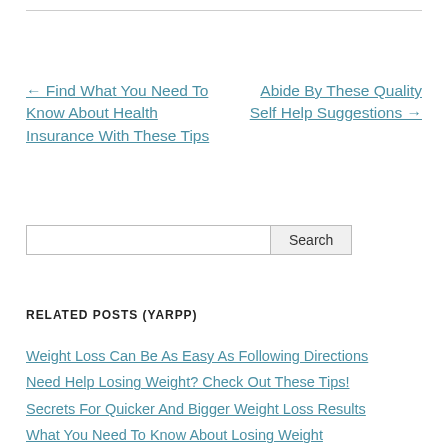← Find What You Need To Know About Health Insurance With These Tips
Abide By These Quality Self Help Suggestions →
Search
RELATED POSTS (YARPP)
Weight Loss Can Be As Easy As Following Directions
Need Help Losing Weight? Check Out These Tips!
Secrets For Quicker And Bigger Weight Loss Results
What You Need To Know About Losing Weight